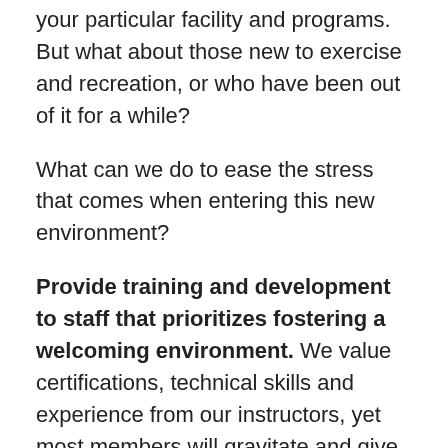your particular facility and programs. But what about those new to exercise and recreation, or who have been out of it for a while?
What can we do to ease the stress that comes when entering this new environment?
Provide training and development to staff that prioritizes fostering a welcoming environment. We value certifications, technical skills and experience from our instructors, yet most members will gravitate and give positive feedback because they like how the instructor made them feel, both physically and socially. Many of the fitness classes I have participated in often started with the instructor yelling into a microphone, a quick introduction and